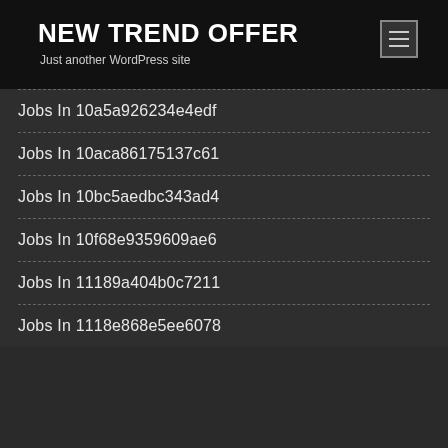NEW TREND OFFER
Just another WordPress site
Jobs In 10a5a926234e4edf
Jobs In 10aca86175137c61
Jobs In 10bc5aedbc343ad4
Jobs In 10f68e9359609ae6
Jobs In 11189a404b0c7211
Jobs In 1118e868e5ee6078